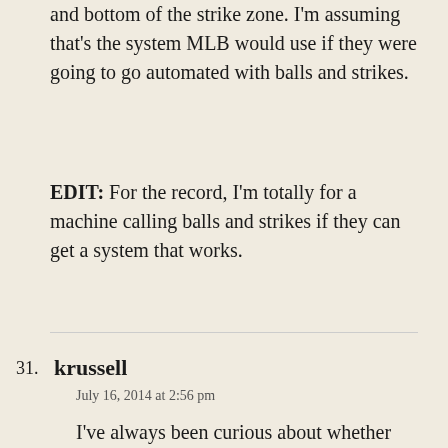and bottom of the strike zone. I'm assuming that's the system MLB would use if they were going to go automated with balls and strikes.
EDIT: For the record, I'm totally for a machine calling balls and strikes if they can get a system that works.
31. krussell
July 16, 2014 at 2:56 pm
I've always been curious about whether robo-strike-zone would help or hinder offense. I feel like most umpires are pretty awful at calling breaking-pitch strikes, and that they